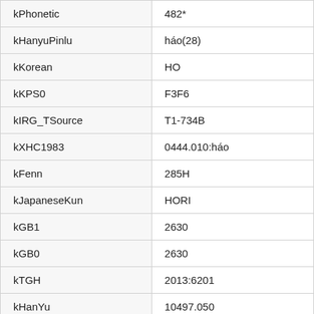| Property | Value |
| --- | --- |
| kPhonetic | 482* |
| kHanyuPinlu | háo(28) |
| kKorean | HO |
| kKPS0 | F3F6 |
| kIRG_TSource | T1-734B |
| kXHC1983 | 0444.010:háo |
| kFenn | 285H |
| kJapaneseKun | HORI |
| kGB1 | 2630 |
| kGB0 | 2630 |
| kTGH | 2013:6201 |
| kHanYu | 10497.050 |